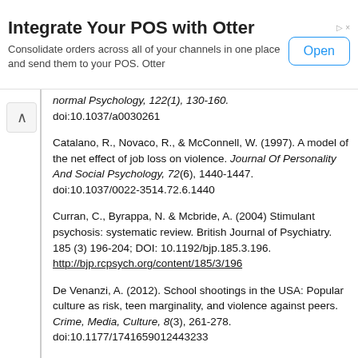[Figure (screenshot): Advertisement banner: 'Integrate Your POS with Otter' with Open button]
normal Psychology, 122(1), 130-160. doi:10.1037/a0030261
Catalano, R., Novaco, R., & McConnell, W. (1997). A model of the net effect of job loss on violence. Journal Of Personality And Social Psychology, 72(6), 1440-1447. doi:10.1037/0022-3514.72.6.1440
Curran, C., Byrappa, N. & Mcbride, A. (2004) Stimulant psychosis: systematic review. British Journal of Psychiatry. 185 (3) 196-204; DOI: 10.1192/bjp.185.3.196. http://bjp.rcpsych.org/content/185/3/196
De Venanzi, A. (2012). School shootings in the USA: Popular culture as risk, teen marginality, and violence against peers. Crime, Media, Culture, 8(3), 261-278. doi:10.1177/1741659012443233